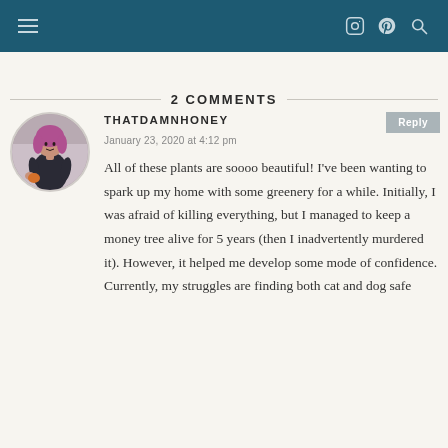Navigation bar with hamburger menu, Instagram, Pinterest, and search icons
2 COMMENTS
THATDAMNHONEY
January 23, 2020 at 4:12 pm
All of these plants are soooo beautiful! I've been wanting to spark up my home with some greenery for a while. Initially, I was afraid of killing everything, but I managed to keep a money tree alive for 5 years (then I inadvertently murdered it). However, it helped me develop some mode of confidence. Currently, my struggles are finding both cat and dog safe